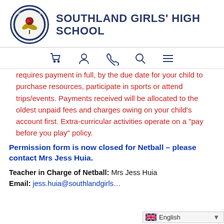[Figure (logo): Southland Girls' High School circular crest logo with rose and leaves, dark blue border, year 1879]
SOUTHLAND GIRLS' HIGH SCHOOL
[Figure (other): Navigation bar icons: shopping cart, person/account, phone, search, hamburger menu]
requires payment in full, by the due date for your child to purchase resources, participate in sports or attend trips/events. Payments received will be allocated to the oldest unpaid fees and charges owing on your child's account first. Extra-curricular activities operate on a "pay before you play" policy.
Permission form is now closed for Netball – please contact Mrs Jess Huia.
Teacher in Charge of Netball: Mrs Jess Huia
Email: jess.huia@southlandgirls...
[Figure (other): English language selector widget with UK flag]